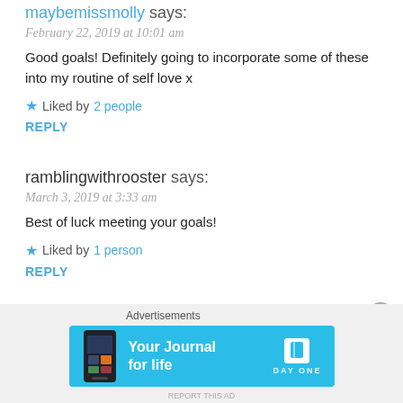maybemissmolly says:
February 22, 2019 at 10:01 am
Good goals! Definitely going to incorporate some of these into my routine of self love x
★ Liked by 2 people
REPLY
ramblingwithrooster says:
March 3, 2019 at 3:33 am
Best of luck meeting your goals!
★ Liked by 1 person
REPLY
[Figure (screenshot): Advertisement banner for Day One journal app with blue background, phone image, and text 'Your Journal for life' with DAY ONE logo]